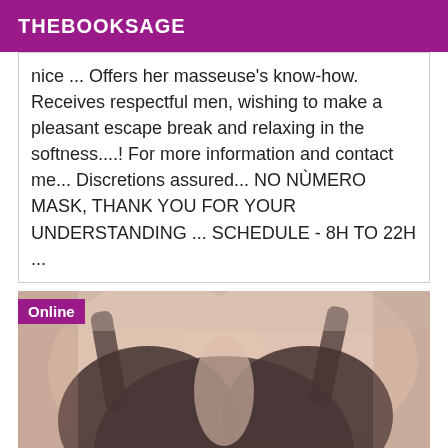THEBOOKSAGE
nice ... Offers her masseuse's know-how. Receives respectful men, wishing to make a pleasant escape break and relaxing in the softness....! For more information and contact me... Discretions assured... NO NÙMERO MASK, THANK YOU FOR YOUR UNDERSTANDING ... SCHEDULE - 8H TO 22H ...
[Figure (photo): Blurred/censored photo of a person wearing a black bra, with an 'Online' badge overlay in the top-left corner]